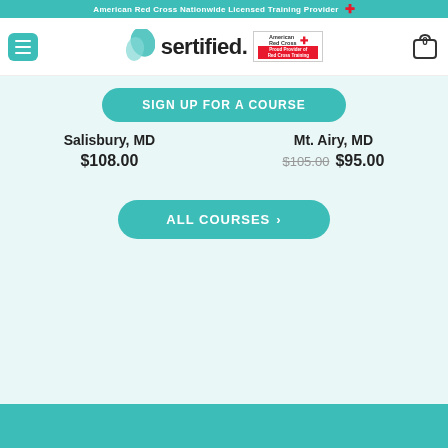American Red Cross Nationwide Licensed Training Provider
[Figure (screenshot): Sertified logo with leaf icon and American Red Cross Proud Provider badge]
SIGN UP FOR A COURSE
Salisbury, MD
$108.00
Mt. Airy, MD
$105.00  $95.00
ALL COURSES >